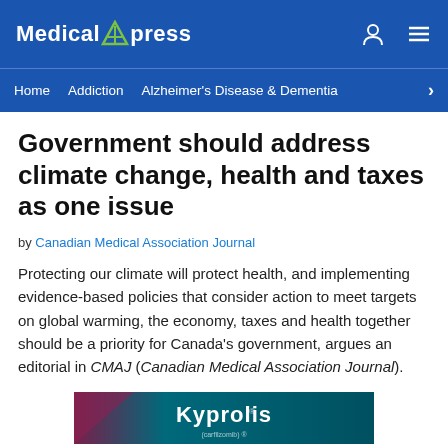Medical Xpress
Home  Addiction  Alzheimer's Disease & Dementia
Government should address climate change, health and taxes as one issue
by Canadian Medical Association Journal
Protecting our climate will protect health, and implementing evidence-based policies that consider action to meet targets on global warming, the economy, taxes and health together should be a priority for Canada's government, argues an editorial in CMAJ (Canadian Medical Association Journal).
[Figure (other): Kyprolis advertisement banner with teal and dark red/maroon background]